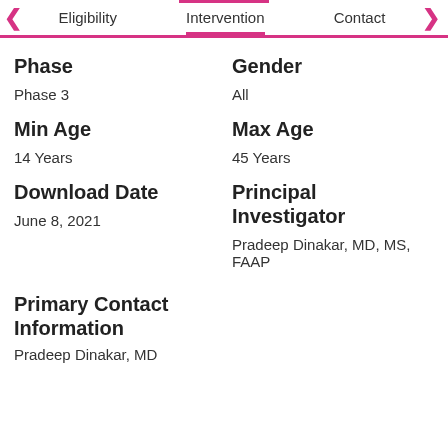Eligibility | Intervention | Contact
Phase
Phase 3
Gender
All
Min Age
14 Years
Max Age
45 Years
Download Date
June 8, 2021
Principal Investigator
Pradeep Dinakar, MD, MS, FAAP
Primary Contact Information
Pradeep Dinakar, MD